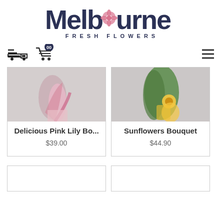[Figure (logo): Melbourne Fresh Flowers logo with dark navy text and pink flower icon replacing the 'o' in Melbourne]
[Figure (screenshot): Navigation bar with delivery truck icon, shopping cart icon with '00' badge, and hamburger menu icon]
[Figure (photo): Partial image of Delicious Pink Lily Bouquet - pink flowers being held]
Delicious Pink Lily Bo...
$39.00
[Figure (photo): Partial image of Sunflowers Bouquet - green foliage with yellow flowers being held]
Sunflowers Bouquet
$44.90